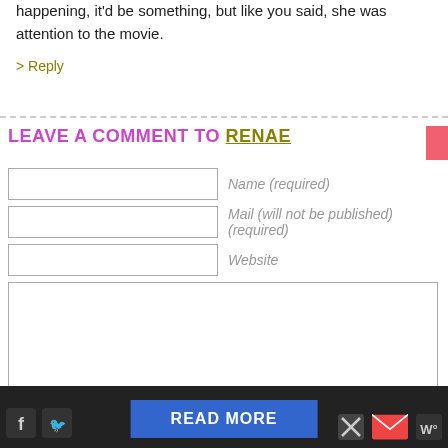happening, it'd be something, but like you said, she was attention to the movie.
> Reply
LEAVE A COMMENT TO RENAE
[Figure (screenshot): Web comment form with Name, Mail, Website input fields and a large textarea]
[Figure (screenshot): Bottom toolbar with social icons (Facebook, Twitter), READ MORE blue button, close X, mail icon, and W logo on dark background]